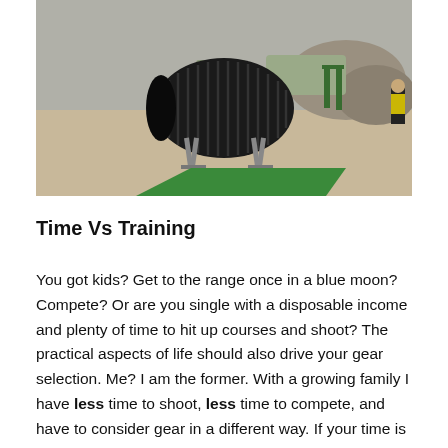[Figure (photo): Outdoor shooting range or military obstacle course with a large black corrugated drainage pipe tunnel supported by metal stands, a green artificial turf mat in front of it, sandy ground, rocky terrain in background, and a person in a yellow vest visible on the right edge.]
Time Vs Training
You got kids? Get to the range once in a blue moon? Compete? Or are you single with a disposable income and plenty of time to hit up courses and shoot? The practical aspects of life should also drive your gear selection. Me? I am the former. With a growing family I have less time to shoot, less time to compete, and have to consider gear in a different way. If your time is